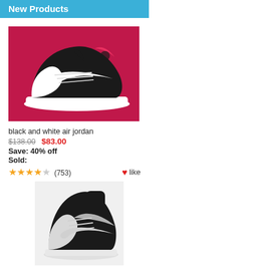New Products
[Figure (photo): Black and white Air Jordan sneaker on a red/pink background]
black and white air jordan
$138.00  $83.00
Save: 40% off
Sold:
★★★★☆ (753)  ♥like
[Figure (photo): Black Air Jordan 1 high-top sneaker on a light gray background]